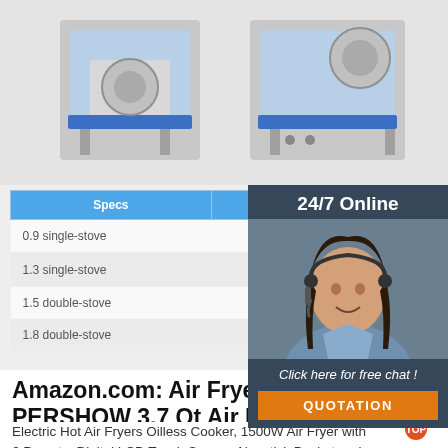[Figure (photo): Two commercial gas stoves/wok burners on stands against a light grey background]
| Specs | Product Size | Gas Ar |
| --- | --- | --- |
| 0.9 single-stove | 900*800*800mm |  |
| 1.3 single-stove | 1300*800*800mm | 2m³/h/sto |
| 1.5 double-stove | 1500*800*800mm |  |
| 1.8 double-stove | 1800*800*800mm |  |
[Figure (photo): Customer service representative (woman with headset) with 24/7 Online chat overlay and QUOTATION button]
Amazon.com: Air Fryer, PERSHOW 3.7 Qt Air Fryer with
Electric Hot Air Fryers Oilless Cooker, 1500W Air Fryer with 6 Presets, Digital LCD Touch Screen, Nonstick Basket and Recipe Book. 5L $72.44 $.